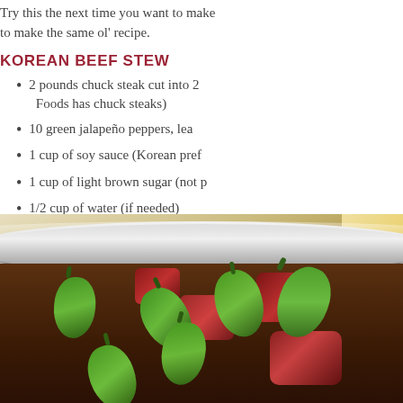Try this the next time you want to make to make the same ol' recipe.
KOREAN BEEF STEW
2 pounds chuck steak cut into 2 Foods has chuck steaks)
10 green jalapeño peppers, lea
1 cup of soy sauce (Korean pref
1 cup of light brown sugar (not p
1/2 cup of water (if needed)
Place all ingredients into a heavy-bottom Creuset enameled cast iron Dutch ovens
[Figure (photo): A large stainless steel pot containing raw chunks of beef and whole green jalapeño peppers, ready to be cooked into Korean beef stew.]